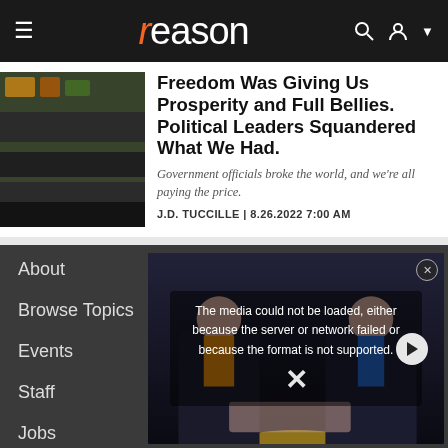reason
Freedom Was Giving Us Prosperity and Full Bellies. Political Leaders Squandered What We Had.
Government officials broke the world, and we're all paying the price.
J.D. TUCCILLE | 8.26.2022 7:00 AM
About
Browse Topics
Events
Staff
Jobs
Donate
[Figure (screenshot): Video player showing error message: The media could not be loaded, either because the server or network failed or because the format is not supported. Background shows two people in suits at a podium.]